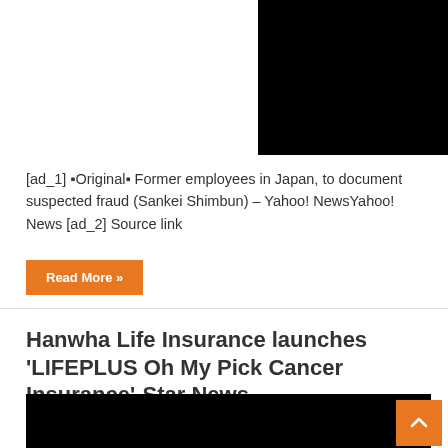[Figure (other): Black rectangle image placeholder in upper right area]
[ad_1] ■Original■ Former employees in Japan, to document suspected fraud (Sankei Shimbun) – Yahoo! NewsYahoo! News [ad_2] Source link
Read More »
Hanwha Life Insurance launches ‘LIFEPLUS Oh My Pick Cancer Insurance’-Star News
December 6, 2020   korea
[Figure (photo): Black image area at the bottom of the page]